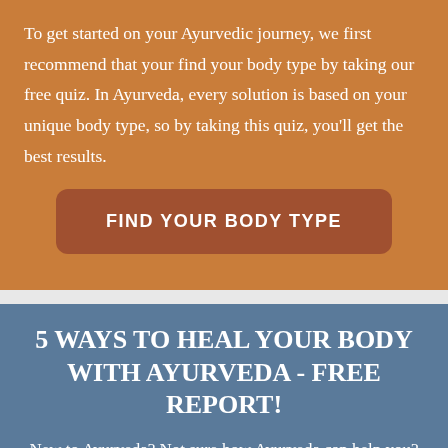To get started on your Ayurvedic journey, we first recommend that your find your body type by taking our free quiz. In Ayurveda, every solution is based on your unique body type, so by taking this quiz, you'll get the best results.
[Figure (other): A button with rounded corners and darker brown background reading FIND YOUR BODY TYPE in white bold uppercase letters]
5 WAYS TO HEAL YOUR BODY WITH AYURVEDA - FREE REPORT!
New to Ayurveda? Not sure how Ayurveda can help you? This free report shows you 5 simple ways you